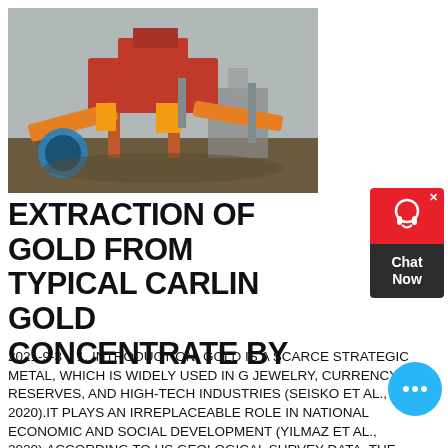[Figure (photo): Photograph of a gold mining processing plant with red industrial machinery, conveyor belts and equipment on a dirt field with a grey sky backdrop.]
EXTRACTION OF GOLD FROM TYPICAL CARLIN GOLD CONCENTRATE BY
2021-9-3    1. INTRODUCTION. GOLD IS A SCARCE STRATEGIC METAL, WHICH IS WIDELY USED IN G JEWELRY, CURRENCY RESERVES, AND HIGH-TECH INDUSTRIES (SEISKO ET AL., 2020).IT PLAYS AN IRREPLACEABLE ROLE IN NATIONAL ECONOMIC AND SOCIAL DEVELOPMENT (YILMAZ ET AL., 2020).ACCORDING TO US GEOLOGICAL SURVEY DATA, THE AMOUNT OF GOLD RESOURCES IDENTIFIED IN THE WORLD IS 89,000 T, WHILE ABOUT 30%